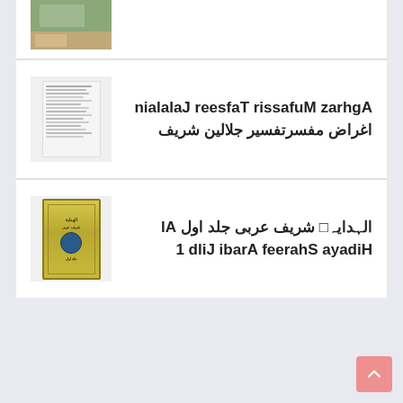[Figure (illustration): Partial thumbnail of a book or photo at top, cropped]
Aghraz Mufassir Tafseer Jalalain اغراض مفسرتفسیر جلالین شریف
[Figure (photo): Thumbnail of Al Hidaya Shareef book cover - yellow/gold colored book]
الہدایہ شریف عربی جلد اول Al Hidaya Shareef Arabi Jild 1